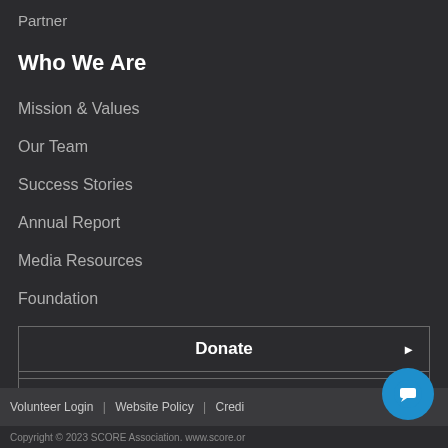Partner
Who We Are
Mission & Values
Our Team
Success Stories
Annual Report
Media Resources
Foundation
Donate ▶
Partner ▶
Volunteer ▶
Volunteer Login | Website Policy | Credi...
Copyright © 2023 SCORE Association. www.score.or...